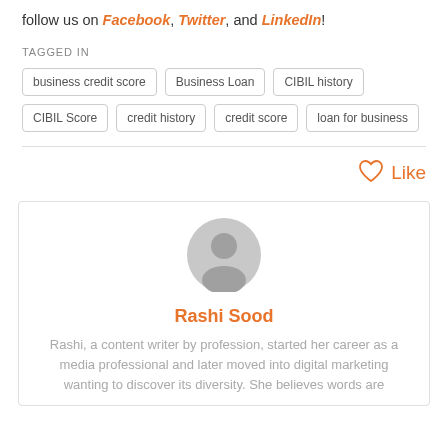follow us on Facebook, Twitter, and LinkedIn!
TAGGED IN
business credit score | Business Loan | CIBIL history | CIBIL Score | credit history | credit score | loan for business
[Figure (other): Heart/Like icon with Like text in orange]
[Figure (illustration): Generic user avatar icon (grey circle with person silhouette)]
Rashi Sood
Rashi, a content writer by profession, started her career as a media professional and later moved into digital marketing wanting to discover its diversity. She believes words are